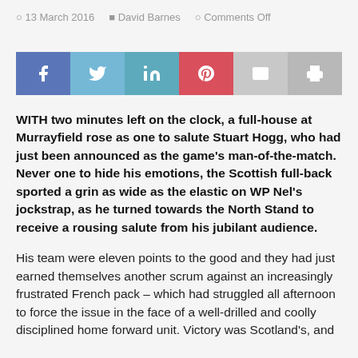13 March 2016  David Barnes  Comments Off
[Figure (infographic): Social sharing buttons: Facebook (blue), Twitter (light blue), LinkedIn (teal), Pinterest (red), Email (light grey), Print (grey)]
WITH two minutes left on the clock, a full-house at Murrayfield rose as one to salute Stuart Hogg, who had just been announced as the game’s man-of-the-match. Never one to hide his emotions, the Scottish full-back sported a grin as wide as the elastic on WP Nel’s jockstrap, as he turned towards the North Stand to receive a rousing salute from his jubilant audience.
His team were eleven points to the good and they had just earned themselves another scrum against an increasingly frustrated French pack – which had struggled all afternoon to force the issue in the face of a well-drilled and coolly disciplined home forward unit. Victory was Scotland’s, and